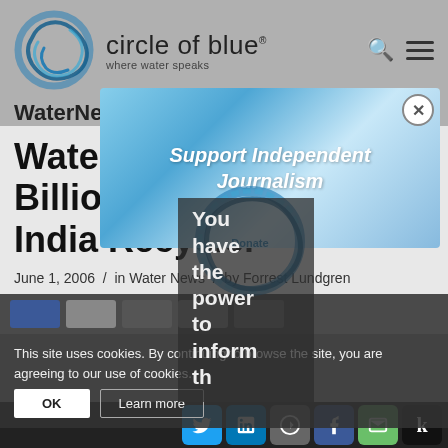circle of blue — where water speaks
WaterNews
Water Woe Signals $17 Billion Opportunity for India Recycler
June 1, 2006 / in Water News / by Forrest Lundgren
[Figure (infographic): Support Independent Journalism ad overlay with blue sky background and close button]
This site uses cookies. By continuing to browse the site, you are agreeing to our use of cookies.
Tags: indianews
You have the power to inform th...